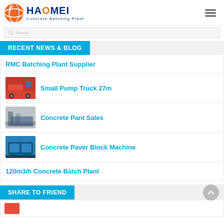[Figure (logo): Haomei Concrete Batching Plant logo with orange globe icon and dark blue text]
search (placeholder bar)
RECENT NEWS & BLOG
RMC Batching Plant Supplier
Small Pump Truck 27m
Concrete Pant Sales
Concrete Paver Block Machine
120m3/h Concrete Batch Plant
SHARE TO FRIEND